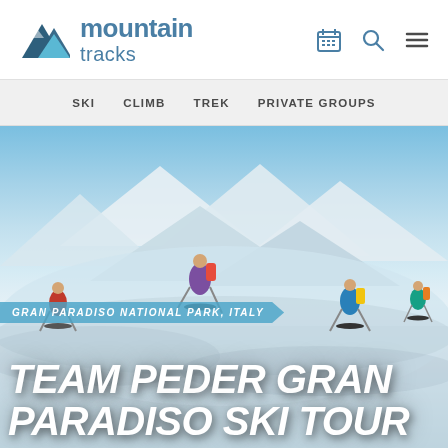mountain tracks
SKI  CLIMB  TREK  PRIVATE GROUPS
[Figure (photo): Group of skiers touring across a snow-covered alpine landscape with steep snow-capped mountain peaks in the background under a clear blue sky in Gran Paradiso National Park, Italy]
GRAN PARADISO NATIONAL PARK, ITALY
TEAM PEDER GRAN PARADISO SKI TOUR